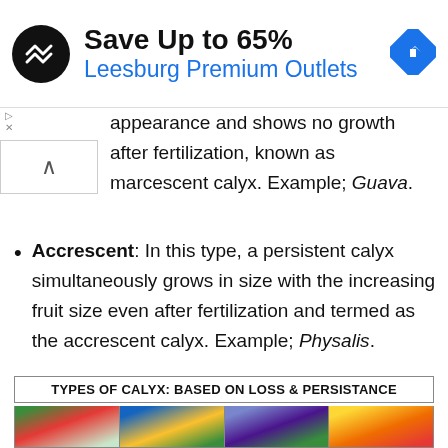[Figure (screenshot): Advertisement banner: Save Up to 65% at Leesburg Premium Outlets with logo and navigation icon]
appearance and shows no growth after fertilization, known as marcescent calyx. Example; Guava.
Accrescent: In this type, a persistent calyx simultaneously grows in size with the increasing fruit size even after fertilization and termed as the accrescent calyx. Example; Physalis.
| TYPES OF CALYX: BASED ON LOSS & PERSISTANCE |
| --- |
| [images of flower/plant specimens] |
[Figure (photo): Four botanical images showing different calyx types: red poppy flower, yellow flowers on blue background, eggplant with green calyx, tomato on yellow background]